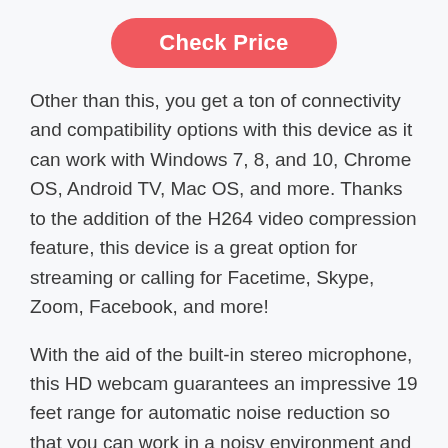[Figure (other): Red rounded button with white text reading 'Check Price']
Other than this, you get a ton of connectivity and compatibility options with this device as it can work with Windows 7, 8, and 10, Chrome OS, Android TV, Mac OS, and more. Thanks to the addition of the H264 video compression feature, this device is a great option for streaming or calling for Facetime, Skype, Zoom, Facebook, and more!
With the aid of the built-in stereo microphone, this HD webcam guarantees an impressive 19 feet range for automatic noise reduction so that you can work in a noisy environment and still be completely professional and clear.